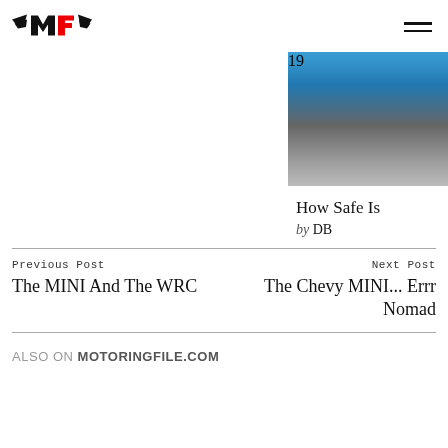MotoringFile logo and navigation
[Figure (photo): Blue car rear end photo, partially cropped on right side]
How Safe Is
by DB
Previous Post
The MINI And The WRC
Next Post
The Chevy MINI... Errr Nomad
ALSO ON MOTORINGFILE.COM